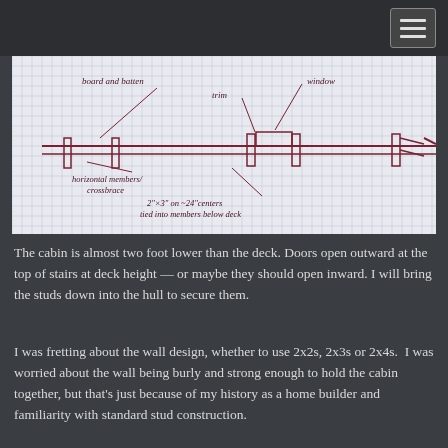[Figure (schematic): Hand-drawn sketch on graph paper showing a cross-section of a cabin wall/deck assembly. Labels include: 'board and batten', 'window', 'trim', 'horizontal members/crossbrace', and '2x3 on ~24" centers tied into members below deck'.]
The cabin is almost two foot lower than the deck. Doors open outward at the top of stairs at deck height — or maybe they should open inward. I will bring the studs down into the hull to secure them.
I was fretting about the wall design, whether to use 2x2s, 2x3s or 2x4s.  I was worried about the wall being burly and strong enough to hold the cabin together, but that's just because of my history as a home builder and familiarity with standard stud construction.